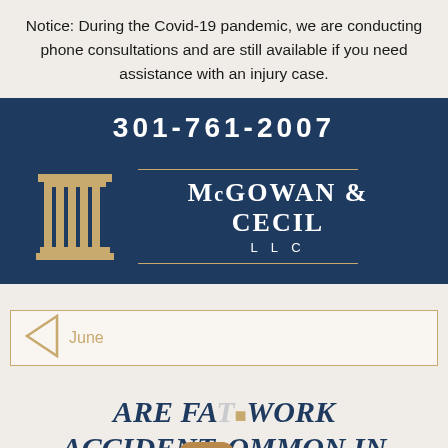Notice: During the Covid-19 pandemic, we are conducting phone consultations and are still available if you need assistance with an injury case.
301-761-2007
[Figure (logo): McGowan & Cecil LLC law firm logo with a gold classical column pillar on the left and firm name in white text on dark blue background with gold horizontal lines above and below the firm name.]
June
Are Fatal Work Accidents Common in Today's Workforce?